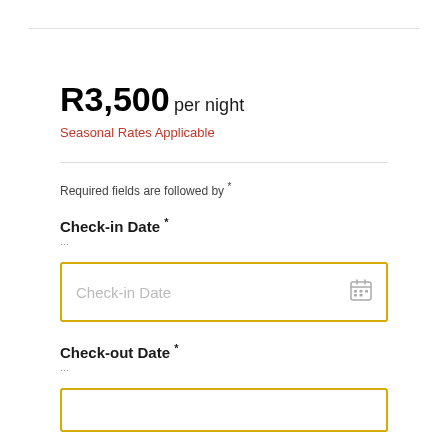R3,500 per night
Seasonal Rates Applicable
Required fields are followed by *
Check-in Date *
Check-in Date (input placeholder)
Check-out Date *